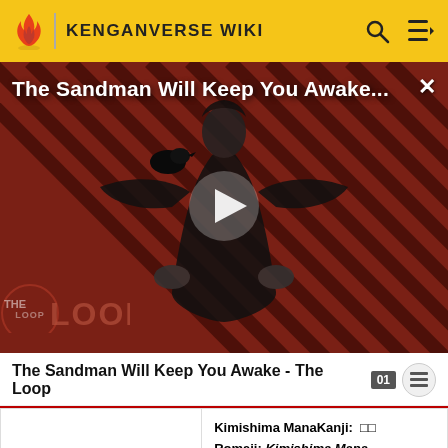KENGANVERSE WIKI
[Figure (screenshot): Video thumbnail for 'The Sandman Will Keep You Awake...' featuring a figure in black robes on a striped red-brown background with THE LOOP logo overlay and a play button]
The Sandman Will Keep You Awake - The Loop
| Secretary | Kimishima ManaKanji: □□
Romaji: Kimishima Mana
Age: 22 |